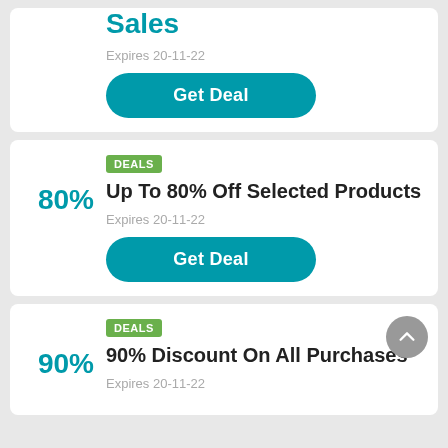Sales
Expires 20-11-22
Get Deal
DEALS
Up To 80% Off Selected Products
Expires 20-11-22
Get Deal
DEALS
90% Discount On All Purchases
Expires 20-11-22